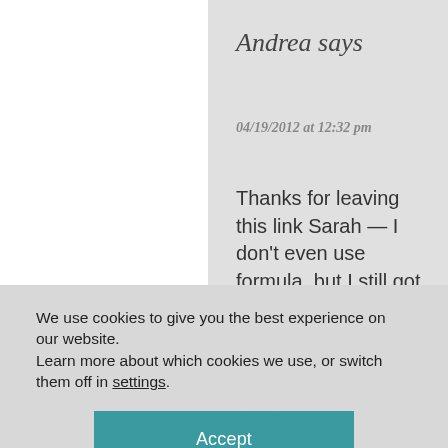Andrea says
04/19/2012 at 12:32 pm
Thanks for leaving this link Sarah — I don't even use formula, but I still got TONS of it for free through these programs. I gave a lot of mine
We use cookies to give you the best experience on our website.
Learn more about which cookies we use, or switch them off in settings.
Accept
Reply